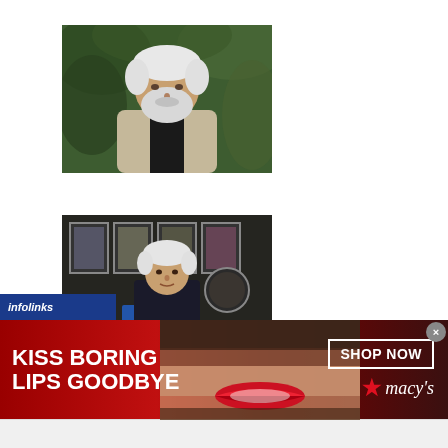[Figure (photo): Elderly man with white beard and hair, wearing a light jacket over a dark shirt, seated outdoors with green foliage background]
[Figure (photo): Man standing behind a wooden counter in what appears to a bar or bookstore, with framed photos/artwork on wall behind him]
[Figure (photo): Book display table at a bookstore with multiple books stacked and standing upright, colorful books in background shelves]
[Figure (screenshot): Infolinks advertisement label in dark blue]
[Figure (screenshot): Macy's advertisement banner: KISS BORING LIPS GOODBYE with woman's face and SHOP NOW button and Macy's star logo]